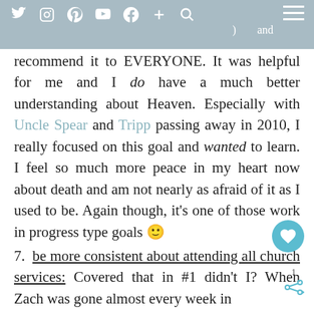Social media icons and navigation bar with ) and
recommend it to EVERYONE. It was helpful for me and I do have a much better understanding about Heaven. Especially with Uncle Spear and Tripp passing away in 2010, I really focused on this goal and wanted to learn. I feel so much more peace in my heart now about death and am not nearly as afraid of it as I used to be. Again though, it's one of those work in progress type goals 🙂
7.  be more consistent about attending all church services: Covered that in #1 didn't I? When Zach was gone almost every week in